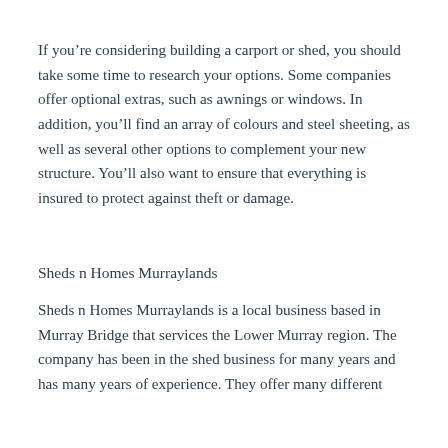If you're considering building a carport or shed, you should take some time to research your options. Some companies offer optional extras, such as awnings or windows. In addition, you'll find an array of colours and steel sheeting, as well as several other options to complement your new structure. You'll also want to ensure that everything is insured to protect against theft or damage.
Sheds n Homes Murraylands
Sheds n Homes Murraylands is a local business based in Murray Bridge that services the Lower Murray region. The company has been in the shed business for many years and has many years of experience. They offer many different